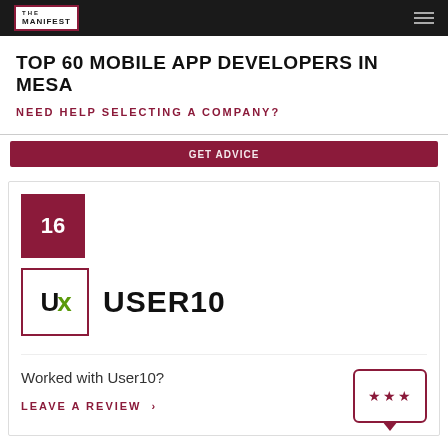THE MANIFEST
TOP 60 MOBILE APP DEVELOPERS IN MESA
NEED HELP SELECTING A COMPANY?
16
USER10
Worked with User10?
LEAVE A REVIEW >